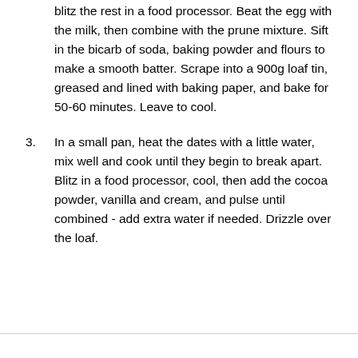blitz the rest in a food processor. Beat the egg with the milk, then combine with the prune mixture. Sift in the bicarb of soda, baking powder and flours to make a smooth batter. Scrape into a 900g loaf tin, greased and lined with baking paper, and bake for 50-60 minutes. Leave to cool.
3. In a small pan, heat the dates with a little water, mix well and cook until they begin to break apart. Blitz in a food processor, cool, then add the cocoa powder, vanilla and cream, and pulse until combined - add extra water if needed. Drizzle over the loaf.